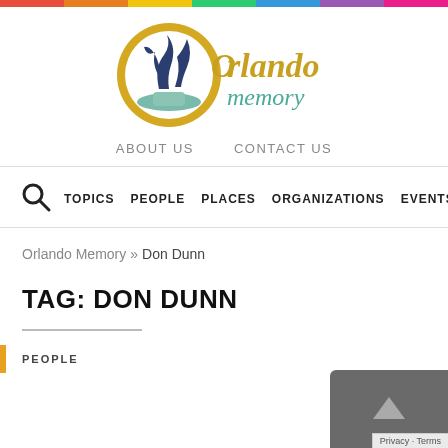[Figure (logo): Orlando Memory logo with decorative fountain/wave graphic inside a gold circle, with 'Orlando' in gold italic and 'memory' in teal italic]
ABOUT US   CONTACT US
🔍  TOPICS   PEOPLE   PLACES   ORGANIZATIONS   EVENTS
Orlando Memory » Don Dunn
TAG: DON DUNN
PEOPLE